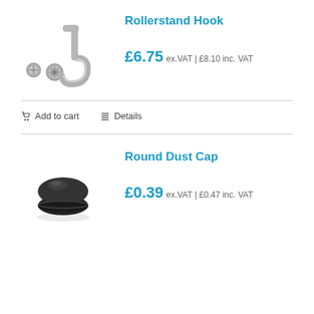Rollerstand Hook
[Figure (photo): Photo of a rollerstand hook with two screws shown separately, silver metal J-shaped hook]
£6.75 ex.VAT | £8.10 inc. VAT
Add to cart   Details
Round Dust Cap
[Figure (photo): Photo of a round black plastic dust cap, viewed from above at slight angle]
£0.39 ex.VAT | £0.47 inc. VAT